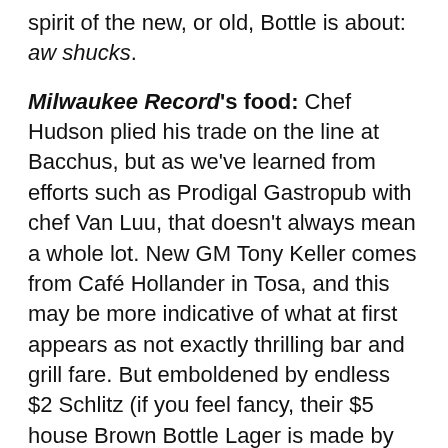spirit of the new, or old, Bottle is about: aw shucks.
Milwaukee Record's food: Chef Hudson plied his trade on the line at Bacchus, but as we've learned from efforts such as Prodigal Gastropub with chef Van Luu, that doesn't always mean a whole lot. New GM Tony Keller comes from Café Hollander in Tosa, and this may be more indicative of what at first appears as not exactly thrilling bar and grill fare. But emboldened by endless $2 Schlitz (if you feel fancy, their $5 house Brown Bottle Lager is made by Lakefront), we decided this was as good a place as any to fatten for the interminable polar vortex.
We've long tired of beer-cheese soup that really just tastes like cheese soup. Here ($8 for a bowl),